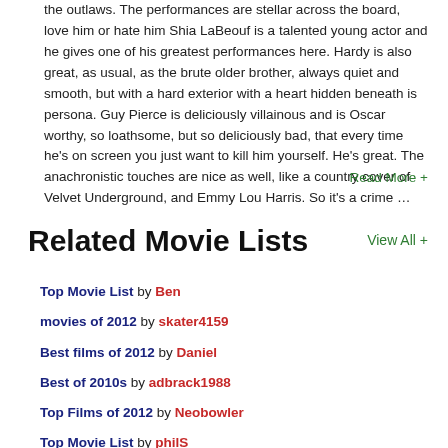the outlaws. The performances are stellar across the board, love him or hate him Shia LaBeouf is a talented young actor and he gives one of his greatest performances here. Hardy is also great, as usual, as the brute older brother, always quiet and smooth, but with a hard exterior with a heart hidden beneath is persona. Guy Pierce is deliciously villainous and is Oscar worthy, so loathsome, but so deliciously bad, that every time he's on screen you just want to kill him yourself. He's great. The anachronistic touches are nice as well, like a country cover of Velvet Underground, and Emmy Lou Harris. So it's a crime …
Read More +
Related Movie Lists
View All +
Top Movie List by Ben
movies of 2012 by skater4159
Best films of 2012 by Daniel
Best of 2010s by adbrack1988
Top Films of 2012 by Neobowler
Top Movie List by philS
My Top Movies of 2012 (So Far) by ...